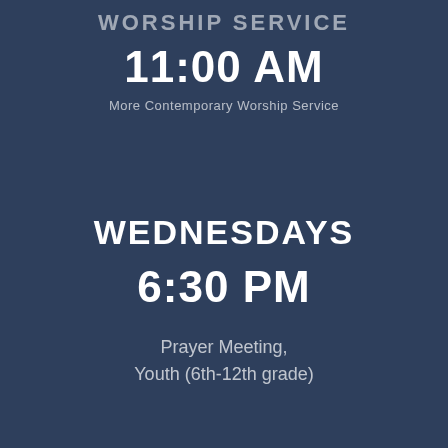WORSHIP SERVICE
11:00 AM
More Contemporary Worship Service
WEDNESDAYS
6:30 PM
Prayer Meeting, Youth (6th-12th grade)